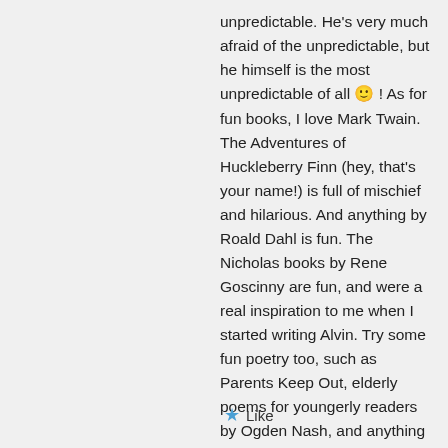unpredictable. He's very much afraid of the unpredictable, but he himself is the most unpredictable of all 🙂 ! As for fun books, I love Mark Twain. The Adventures of Huckleberry Finn (hey, that's your name!) is full of mischief and hilarious. And anything by Roald Dahl is fun. The Nicholas books by Rene Goscinny are fun, and were a real inspiration to me when I started writing Alvin. Try some fun poetry too, such as Parents Keep Out, elderly poems for youngerly readers by Ogden Nash, and anything by the Canadian poet JonArno Larson. Enjoy!
★ Like